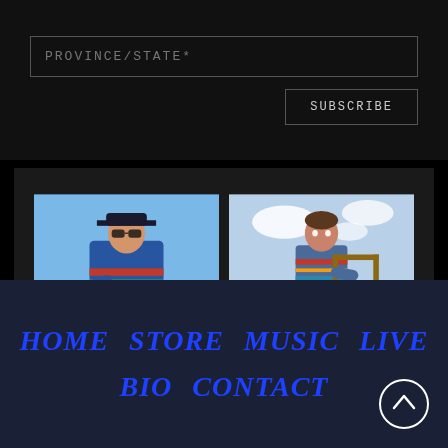PROVINCE/STATE*
SUBSCRIBE
[Figure (photo): Two photos side by side: left shows a musician wearing a cap and sunglasses playing guitar outdoors with blue sky; right shows a person in a striped jacket standing outdoors holding a wooden frame with sea/sky background]
MEDIA TOOLS
HOME  STORE  MUSIC  LIVE  BIO  CONTACT